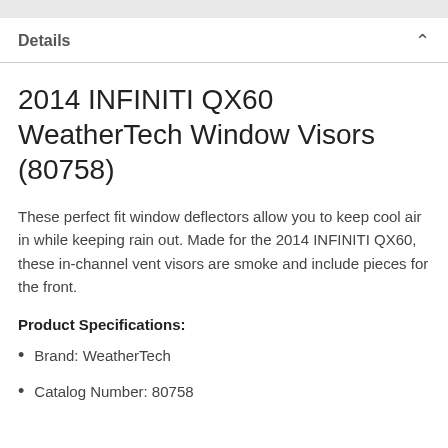Details
2014 INFINITI QX60 WeatherTech Window Visors (80758)
These perfect fit window deflectors allow you to keep cool air in while keeping rain out. Made for the 2014 INFINITI QX60, these in-channel vent visors are smoke and include pieces for the front.
Product Specifications:
Brand: WeatherTech
Catalog Number: 80758